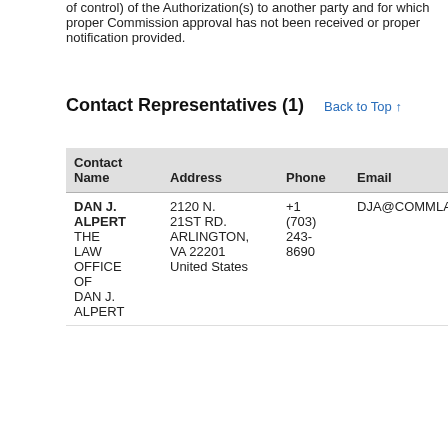of control) of the Authorization(s) to another party and for which proper Commission approval has not been received or proper notification provided.
Contact Representatives (1)
| Contact Name | Address | Phone | Email | Contact T |
| --- | --- | --- | --- | --- |
| DAN J. ALPERT THE LAW OFFICE OF DAN J. ALPERT | 2120 N. 21ST RD. ARLINGTON, VA 22201 United States | +1 (703) 243-8690 | DJA@COMMLAW.TV | Legal Represen |